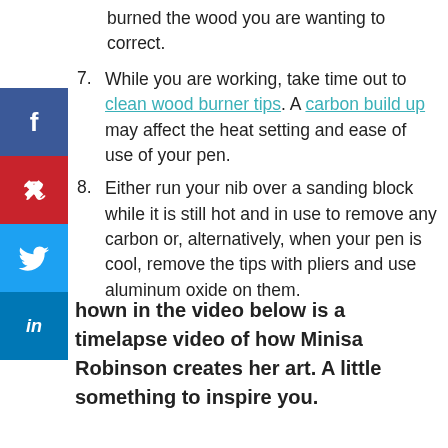burned the wood you are wanting to correct.
7. While you are working, take time out to clean wood burner tips. A carbon build up may affect the heat setting and ease of use of your pen.
8. Either run your nib over a sanding block while it is still hot and in use to remove any carbon or, alternatively, when your pen is cool, remove the tips with pliers and use aluminum oxide on them.
Shown in the video below is a timelapse video of how Minisa Robinson creates her art. A little something to inspire you.